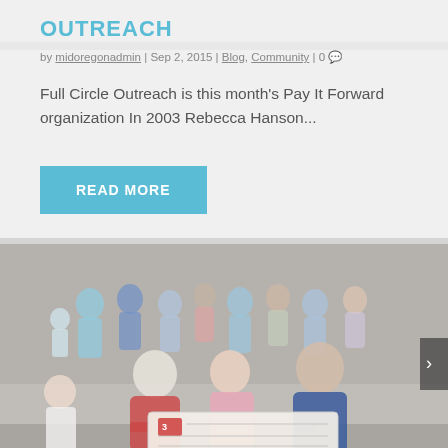OUTREACH
by midoregonadmin | Sep 2, 2015 | Blog, Community | 0
Full Circle Outreach is this month's Pay It Forward organization In 2003 Rebecca Hanson...
READ MORE
[Figure (photo): Group photo of adults and children holding a large check, with a TV station (Channel 21) watermark and timestamp 6:53 / 53' visible in the lower right corner.]